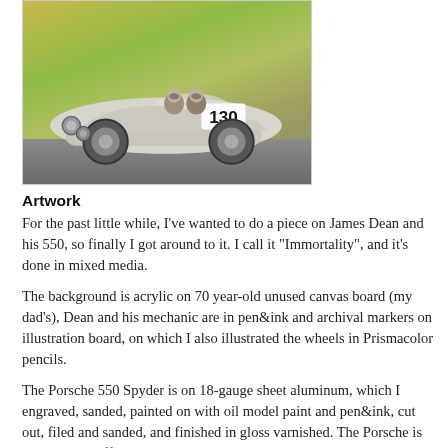[Figure (illustration): Mixed media artwork titled 'Immortality' showing a vintage Porsche 550 Spyder race car numbered 130 with two drivers, set against a colorful painted background with green and yellow tones.]
Artwork
For the past little while, I've wanted to do a piece on James Dean and his 550, so finally I got around to it. I call it "Immortality", and it's done in mixed media.
The background is acrylic on 70 year-old unused canvas board (my dad's), Dean and his mechanic are in pen&ink and archival markers on illustration board, on which I also illustrated the wheels in Prismacolor pencils.
The Porsche 550 Spyder is on 18-gauge sheet aluminum, which I engraved, sanded, painted on with oil model paint and pen&ink, cut out, filed and sanded, and finished in gloss varnished. The Porsche is about a 1/4" off the canvas ...